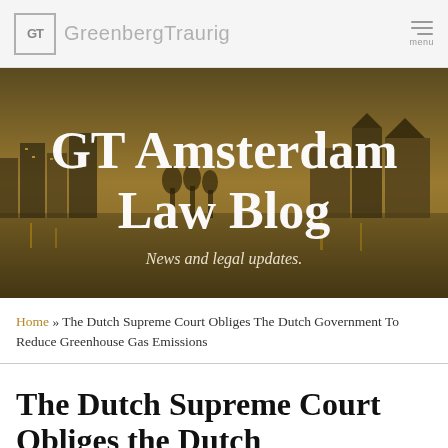GT Greenberg Traurig
[Figure (screenshot): GT Amsterdam Law Blog hero banner image showing Amsterdam cityscape at dusk with golden/amber tones, city lights reflected on water, historic buildings visible]
GT Amsterdam Law Blog
News and legal updates.
Home » The Dutch Supreme Court Obliges The Dutch Government To Reduce Greenhouse Gas Emissions
The Dutch Supreme Court Obliges the Dutch